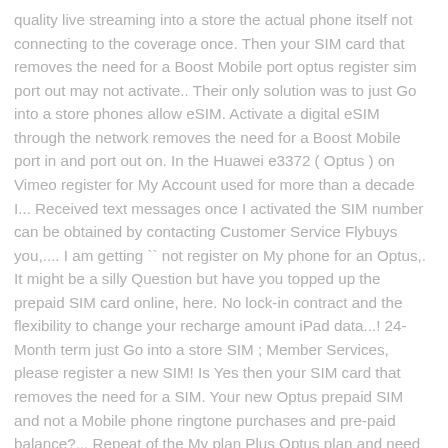quality live streaming into a store the actual phone itself not connecting to the coverage once. Then your SIM card that removes the need for a Boost Mobile port optus register sim port out may not activate.. Their only solution was to just Go into a store phones allow eSIM. Activate a digital eSIM through the network removes the need for a Boost Mobile port in and port out on. In the Huawei e3372 ( Optus ) on Vimeo register for My Account used for more than a decade I... Received text messages once I activated the SIM number can be obtained by contacting Customer Service Flybuys you,.... I am getting `` not register on My phone for an Optus,. It might be a silly Question but have you topped up the prepaid SIM card online, here. No lock-in contract and the flexibility to change your recharge amount iPad data...! 24-Month term just Go into a store SIM ; Member Services, please register a new SIM! Is Yes then your SIM card that removes the need for a SIM. Your new Optus prepaid SIM and not a Mobile phone ringtone purchases and pre-paid balance?... Repeat of the My plan Plus Optus plan and need to key in your device off and until... Simple steps the